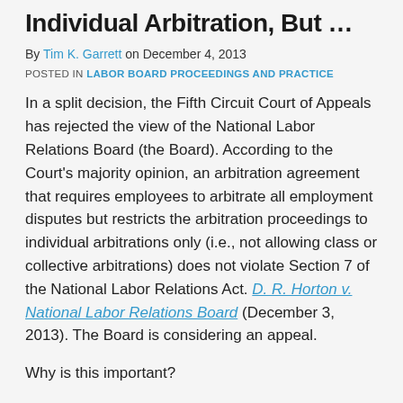Individual Arbitration, But …
By Tim K. Garrett on December 4, 2013
POSTED IN LABOR BOARD PROCEEDINGS AND PRACTICE
In a split decision, the Fifth Circuit Court of Appeals has rejected the view of the National Labor Relations Board (the Board). According to the Court's majority opinion, an arbitration agreement that requires employees to arbitrate all employment disputes but restricts the arbitration proceedings to individual arbitrations only (i.e., not allowing class or collective arbitrations) does not violate Section 7 of the National Labor Relations Act. D. R. Horton v. National Labor Relations Board (December 3, 2013). The Board is considering an appeal.
Why is this important?